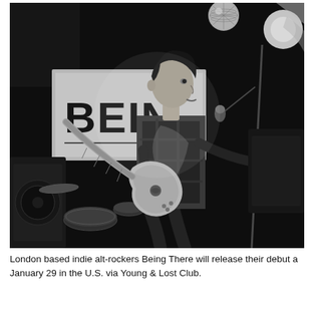[Figure (photo): Black and white concert photo of a young male guitarist performing on stage. He is wearing a plaid shirt and playing an electric guitar. In the background is a banner partially reading 'BEIN'. There is a disco ball visible in the upper portion, drum kit to the left, and a microphone stand to the right. The setting is a small/club venue.]
London based indie alt-rockers Being There will release their debut a January 29 in the U.S. via Young & Lost Club.